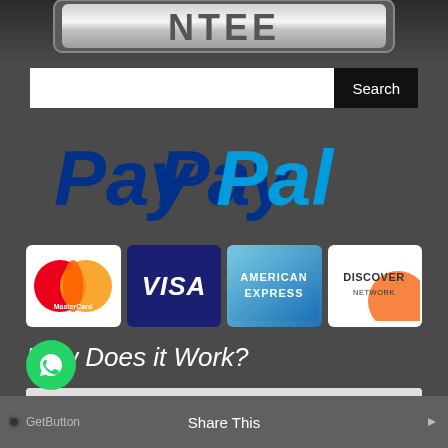[Figure (logo): Partially visible 'GUARANTEE' text logo in silver/chrome letters on dark background]
[Figure (screenshot): Search bar with white text input field and dark 'Search' button]
[Figure (logo): PayPal logo in large blue and dark blue italic font on dark grey background]
[Figure (logo): Four payment method logos in a row: MasterCard, VISA, American Express, Discover Network]
How Does it Work?
[Figure (photo): Bottom portion showing a speedometer/gauge image with 'HOW DOES' text overlay, a green WhatsApp chat button, and a 'Share This' toolbar at the bottom]